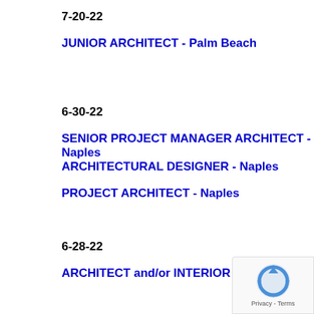7-20-22
JUNIOR ARCHITECT - Palm Beach
6-30-22
SENIOR PROJECT MANAGER ARCHITECT - Naples
ARCHITECTURAL DESIGNER - Naples
PROJECT ARCHITECT - Naples
6-28-22
ARCHITECT and/or INTERIOR DESIGN PROP...